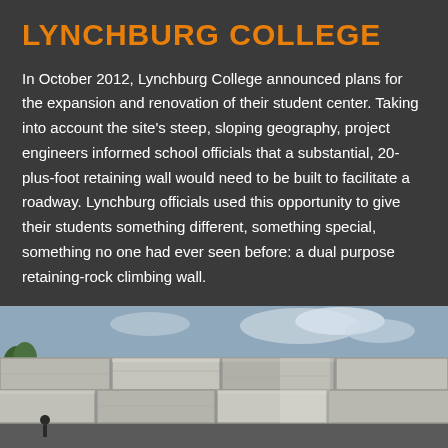LYNCHBURG COLLEGE
In October 2012, Lynchburg College announced plans for the expansion and renovation of their student center. Taking into account the site's steep, sloping geography, project engineers informed school officials that a substantial, 20-plus-foot retaining wall would need to be built to facilitate a roadway. Lynchburg officials used this opportunity to give their students something different, something special, something no one had ever seen before: a dual purpose retaining-rock climbing wall.
Click here to read more
[Figure (photo): Photograph of a large stone block retaining wall at Lynchburg College, showing massive light-grey rectangular stone blocks under a partly cloudy sky. Trees and a street lamp are visible in the background.]